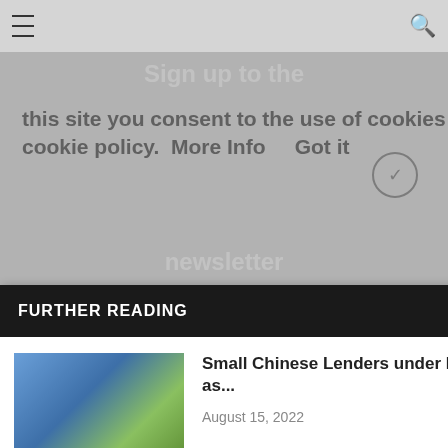≡  [search icon]
this site you consent to the use of cookies on your device in accordance with our cookie policy.  More Info    Got it
FURTHER READING  ×
[Figure (photo): City skyline photo with tall buildings and greenery]
Small Chinese Lenders under Pressure as...
August 15, 2022
[Figure (photo): Photo of tablet and papers on desk]
What is Driving Customer Centricity in...
July 25, 2022
[Figure (photo): Photo of two people in office setting]
From Competition to Collaboration: Shifting Perspectives...
July 14, 2022
y rules of this site
IBE
r 2022 | All Rights Reserved | Advertise | Careers | Editorial policy | Terms & Conditions lishing icial Crises
TOP